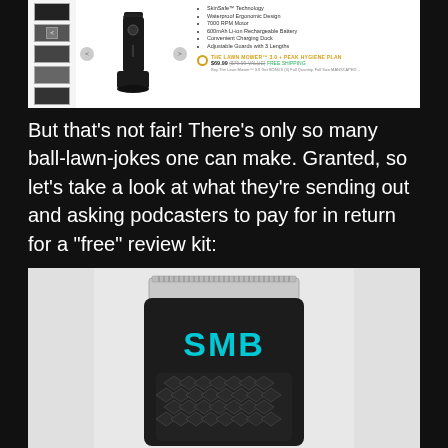[Figure (screenshot): Screenshot of a product page showing a grooming trimmer (Lawn Mower 3.0) with thumbnail images, features list including SkinSafe Technology, Waterproof Ergonomic Design, 7000 RPM Motor, 600mAh Li-ion Rechargeable Battery, Convenient Charging Dock, Adjustable Guards with 3 Lengths, and a purchase plan option 'THE LAWN MOWER 3.0 + PEAK HYGIENE PLAN' priced at $69.99 ($79.99 value) with FREE SHIPPING]
But that’s not fair! There’s only so many ball-lawn-jokes one can make. Granted, so let’s take a look at what they’re sending out and asking podcasters to pay for in return for a “free” review kit:
[Figure (photo): Close-up photo of a black electric trimmer/groomer head with 'SMB' text in cyan/teal letters on the body, showing the blade at the top and a diamond-pattern textured grip below, on a white/light gray background]